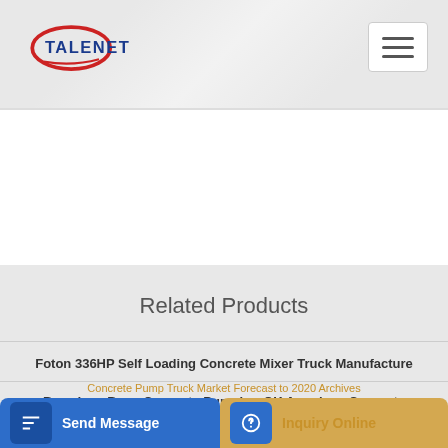[Figure (logo): TALENET company logo with red oval and blue text]
[Figure (screenshot): Hamburger menu button in top right corner]
Related Products
Foton 336HP Self Loading Concrete Mixer Truck Manufacture
Brundage Bone Concrete Pumping-OK American Concrete
Concrete Pump Truck Market Forecast to 2020 Archives
[Figure (screenshot): Send Message button with icon at bottom left]
[Figure (screenshot): Inquiry Online button with icon at bottom right]